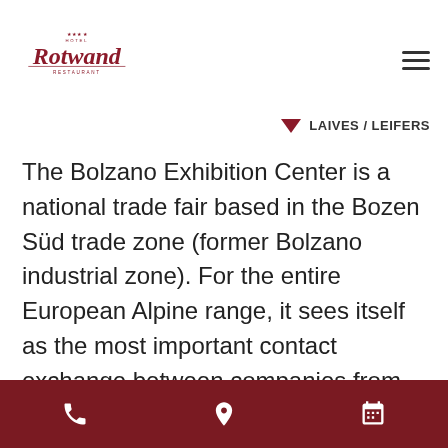Hotel Rotwand Restaurant — logo and navigation
LAIVES / LEIFERS
The Bolzano Exhibition Center is a national trade fair based in the Bozen Süd trade zone (former Bolzano industrial zone). For the entire European Alpine range, it sees itself as the most important contact exchange between companies from the German-speaking countries and Italy. The trade fairs and congresses focus on Alpine economic
Phone | Location | Calendar icons